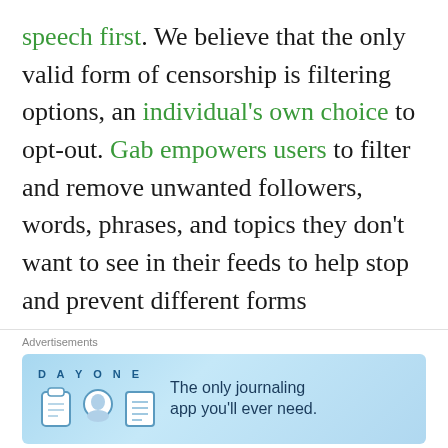speech first. We believe that the only valid form of censorship is filtering options, an individual's own choice to opt-out. Gab empowers users to filter and remove unwanted followers, words, phrases, and topics they don't want to see in their feeds to help stop and prevent different forms harassment. However, we do take steps to protect ourselves and our users from illegal activity. By signing up for Gab, all users agree to adhere to the policies set forth below. Failure to do so will result in the temporary locking or
Advertisements
[Figure (infographic): DAY ONE journaling app advertisement banner with light blue background, app icons, and text 'The only journaling app you'll ever need.']